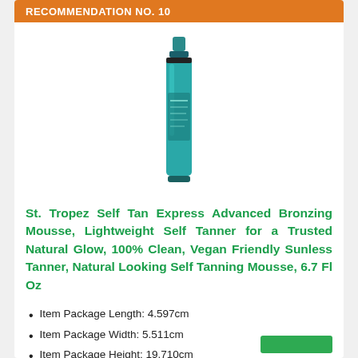RECOMMENDATION NO. 10
[Figure (photo): St. Tropez self tanning mousse bottle, teal/turquoise color with pump dispenser]
St. Tropez Self Tan Express Advanced Bronzing Mousse, Lightweight Self Tanner for a Trusted Natural Glow, 100% Clean, Vegan Friendly Sunless Tanner, Natural Looking Self Tanning Mousse, 6.7 Fl Oz
Item Package Length: 4.597cm
Item Package Width: 5.511cm
Item Package Height: 19.710cm
Item Package Weight: 0.281kg